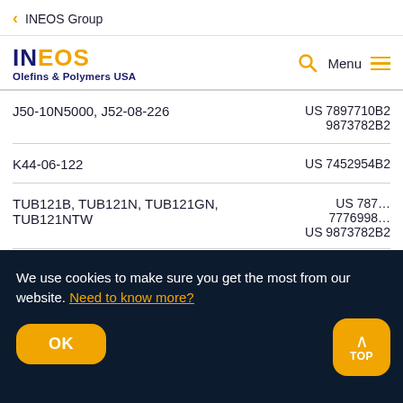< INEOS Group
[Figure (logo): INEOS Olefins & Polymers USA logo with search and menu icons]
| Product Code | Patent |
| --- | --- |
| J50-10N5000, J52-08-226 | US 7897710B2
9873782B2 |
| K44-06-122 | US 7452954B2 |
| TUB121B, TUB121N, TUB121GN, TUB121NTW | US 787...
7776998...
US 9873782B2 |
We use cookies to make sure you get the most from our website. Need to know more?